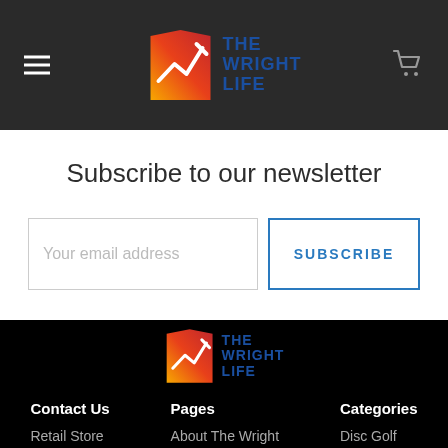[Figure (logo): The Wright Life logo in dark header navigation bar with hamburger menu and cart icon]
Subscribe to our newsletter
Your email address
SUBSCRIBE
[Figure (logo): The Wright Life logo in footer black area]
Contact Us
Pages
Categories
Retail Store
About The Wright
Disc Golf